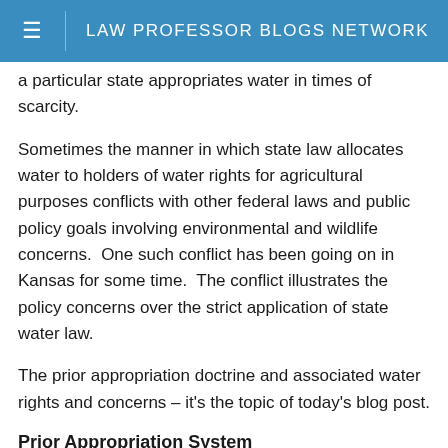LAW PROFESSOR BLOGS NETWORK
a particular state appropriates water in times of scarcity.
Sometimes the manner in which state law allocates water to holders of water rights for agricultural purposes conflicts with other federal laws and public policy goals involving environmental and wildlife concerns.  One such conflict has been going on in Kansas for some time.  The conflict illustrates the policy concerns over the strict application of state water law.
The prior appropriation doctrine and associated water rights and concerns – it's the topic of today's blog post.
Prior Appropriation System
One way that the legal system allocates water is